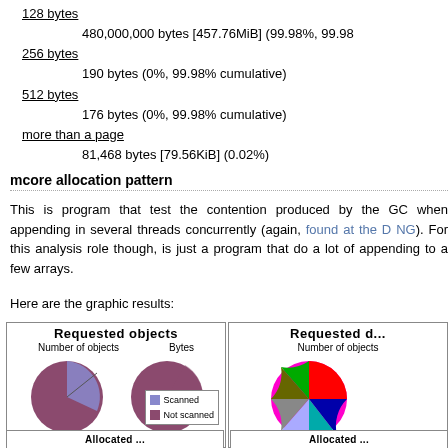128 bytes
    480,000,000 bytes [457.76MiB] (99.98%, 99.98...
256 bytes
    190 bytes (0%, 99.98% cumulative)
512 bytes
    176 bytes (0%, 99.98% cumulative)
more than a page
    81,468 bytes [79.56KiB] (0.02%)
mcore allocation pattern
This is program that test the contention produced by the GC when appending in several threads concurrently (again, found at the D NG). For this analysis role though, is just a program that do a lot of appending to a few arrays.
Here are the graphic results:
[Figure (pie-chart): Two pie charts side by side: 'Number of objects' showing mostly Not scanned (dark pink/mauve) with small Scanned (blue) slice, labeled 726. 'Bytes' showing similar split, labeled 320666378. Legend: Scanned (blue), Not scanned (dark pink).]
[Figure (pie-chart): Partial pie chart visible on right side: 'Number of objects' with magenta/pink dominant slice and many small colored slices.]
Allocated ...  (partial, bottom row)